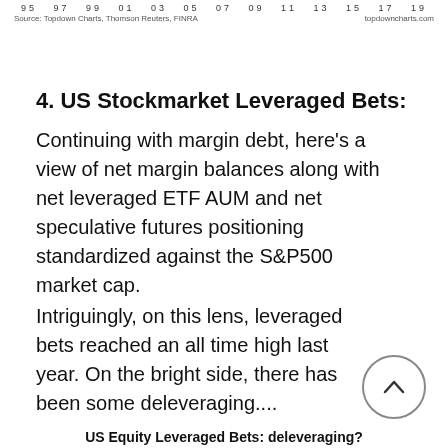95  97  99  01  03  05  07  09  11  13  15  17  19
Source: Topdown Charts, Thomson Reuters, FINRA    topdowncharts.com
4. US Stockmarket Leveraged Bets:
Continuing with margin debt, here’s a view of net margin balances along with net leveraged ETF AUM and net speculative futures positioning standardized against the S&P500 market cap.
Intriguingly, on this lens, leveraged bets reached an all time high last year. On the bright side, there has been some deleveraging....
US Equity Leveraged Bets: deleveraging?